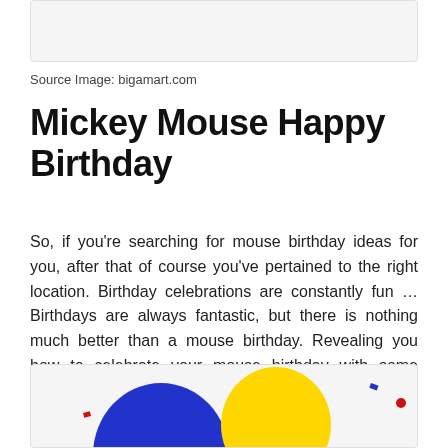[Figure (photo): Partial image box at top of page, light gray background placeholder]
Source Image: bigamart.com
Mickey Mouse Happy Birthday
So, if you're searching for mouse birthday ideas for you, after that of course you've pertained to the right location. Birthday celebrations are constantly fun … Birthdays are always fantastic, but there is nothing much better than a mouse birthday. Revealing you how to celebrate your mouse birthday with some fantastic ideas.
[Figure (illustration): Colorful cartoon illustration showing balloons in blue, red, and yellow colors, partially visible at the bottom of the page]